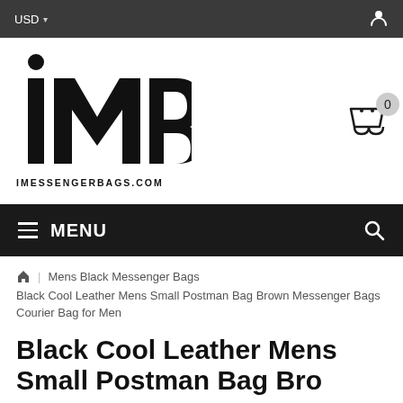USD ▾  [user icon]
[Figure (logo): iMessengerBags.com logo — large stylized 'MB' letters in black with a small circle above the 'i', and the text 'IMESSENGERBAGS.COM' beneath in spaced capitals]
MENU  [search icon]  [cart icon with badge 0]
🏠 | Mens Black Messenger Bags
Black Cool Leather Mens Small Postman Bag Brown Messenger Bags Courier Bag for Men
Black Cool Leather Mens Small Postman Bag Bro…